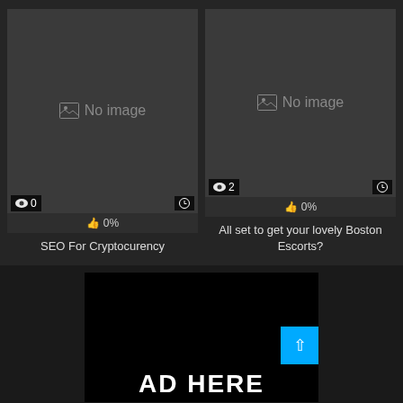[Figure (screenshot): Video thumbnail placeholder showing 'No image' with eye count 0 and clock icon]
0%
SEO For Cryptocurency
[Figure (screenshot): Video thumbnail placeholder showing 'No image' with eye count 2 and clock icon]
0%
All set to get your lovely Boston Escorts?
[Figure (illustration): Black advertisement box with text 'AD HERE' in large white bold letters and a cyan scroll-to-top button]